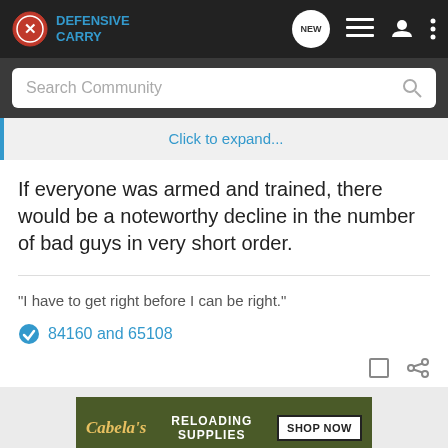Defensive Carry
Search Community
Click to expand...
If everyone was armed and trained, there would be a noteworthy decline in the number of bad guys in very short order.
"I have to get right before I can be right."
84160 and 65108
[Figure (screenshot): Cabela's Reloading Supplies advertisement banner with Shop Now button]